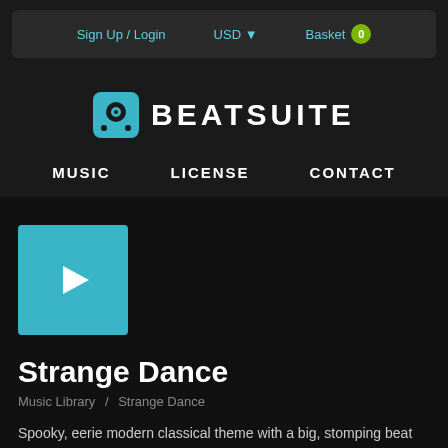Sign Up / Login   USD   Basket 0
[Figure (logo): BeatSuite logo with cyan speaker icon and white BEATSUITE text]
MUSIC   LICENSE   CONTACT
[Figure (illustration): Cyan play button square thumbnail]
Strange Dance
Music Library / Strange Dance
Spooky, eerie modern classical theme with a big, stomping beat and pizzicato string melodies.
Mood/Themes: Dramedy, Quirky, Comedy and Fun